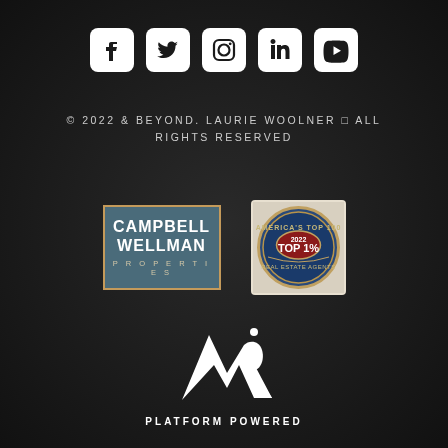[Figure (logo): Social media icons row: Facebook, Twitter, Instagram, LinkedIn, YouTube - white rounded square icons on dark background]
© 2022 & BEYOND. LAURIE WOOLNER ◻ ALL RIGHTS RESERVED
[Figure (logo): Campbell Wellman Properties logo - blue-grey background with orange border, white text]
[Figure (logo): America's Top 100 Real Estate Agents 2022 - Top 1% badge/seal]
[Figure (logo): VR Platform Powered logo - white stylized VR letters with dot accent and text PLATFORM POWERED below]